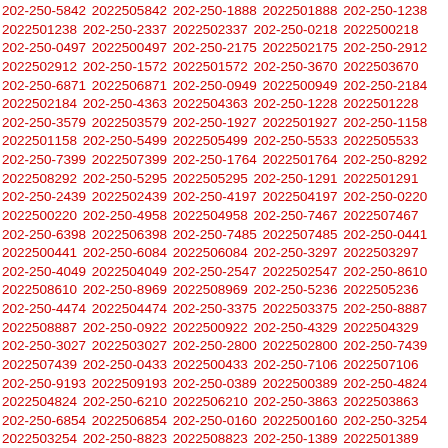202-250-5842 2022505842 202-250-1888 2022501888 202-250-1238 2022501238 202-250-2337 2022502337 202-250-0218 2022500218 202-250-0497 2022500497 202-250-2175 2022502175 202-250-2912 2022502912 202-250-1572 2022501572 202-250-3670 2022503670 202-250-6871 2022506871 202-250-0949 2022500949 202-250-2184 2022502184 202-250-4363 2022504363 202-250-1228 2022501228 202-250-3579 2022503579 202-250-1927 2022501927 202-250-1158 2022501158 202-250-5499 2022505499 202-250-5533 2022505533 202-250-7399 2022507399 202-250-1764 2022501764 202-250-8292 2022508292 202-250-5295 2022505295 202-250-1291 2022501291 202-250-2439 2022502439 202-250-4197 2022504197 202-250-0220 2022500220 202-250-4958 2022504958 202-250-7467 2022507467 202-250-6398 2022506398 202-250-7485 2022507485 202-250-0441 2022500441 202-250-6084 2022506084 202-250-3297 2022503297 202-250-4049 2022504049 202-250-2547 2022502547 202-250-8610 2022508610 202-250-8969 2022508969 202-250-5236 2022505236 202-250-4474 2022504474 202-250-3375 2022503375 202-250-8887 2022508887 202-250-0922 2022500922 202-250-4329 2022504329 202-250-3027 2022503027 202-250-2800 2022502800 202-250-7439 2022507439 202-250-0433 2022500433 202-250-7106 2022507106 202-250-9193 2022509193 202-250-0389 2022500389 202-250-4824 2022504824 202-250-6210 2022506210 202-250-3863 2022503863 202-250-6854 2022506854 202-250-0160 2022500160 202-250-3254 2022503254 202-250-8823 2022508823 202-250-1389 2022501389 202-250-4555 2022504555 202-250-2319 2022502319 202-250-1012 2022501012 202-250-4700 2022504700 202-250-3390 2022503390